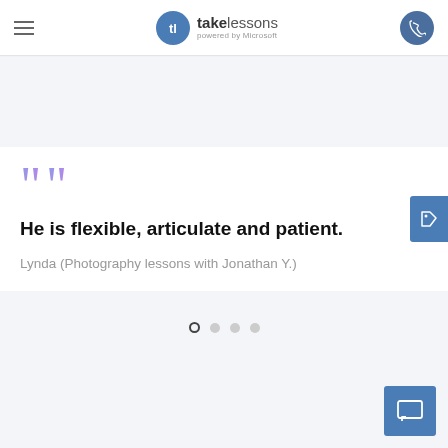[Figure (logo): TakeLessons powered by Microsoft logo with hamburger menu and phone button in header]
[Figure (illustration): Large purple gradient quotation marks decorative element]
He is flexible, articulate and patient.
Lynda (Photography lessons with Jonathan Y.)
[Figure (other): Carousel pagination dots: first dot active (outlined), three inactive (filled grey)]
[Figure (other): Blue chat button in bottom right corner]
[Figure (other): Blue tag/label icon button on right side]